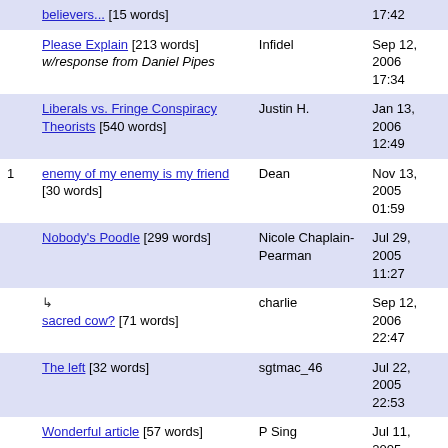|  | Title | Author | Date |
| --- | --- | --- | --- |
|  | believers... [15 words] |  | 17:42 |
|  | Please Explain [213 words] w/response from Daniel Pipes | Infidel | Sep 12, 2006 17:34 |
|  | Liberals vs. Fringe Conspiracy Theorists [540 words] | Justin H. | Jan 13, 2006 12:49 |
| 1 | enemy of my enemy is my friend [30 words] | Dean | Nov 13, 2005 01:59 |
|  | Nobody's Poodle [299 words] | Nicole Chaplain-Pearman | Jul 29, 2005 11:27 |
|  | ↳ sacred cow? [71 words] | charlie | Sep 12, 2006 22:47 |
|  | The left [32 words] | sgtmac_46 | Jul 22, 2005 22:53 |
|  | Wonderful article [57 words] | P Sing | Jul 11, 2005 19:15 |
|  | Marxists [78 words] | Twin Ruler | Sep 28, 2004 14:27 |